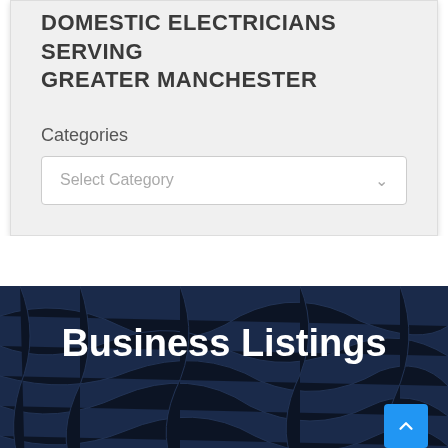DOMESTIC ELECTRICIANS SERVING GREATER MANCHESTER
Categories
Select Category
Business Listings
Brighton Electrical Pros